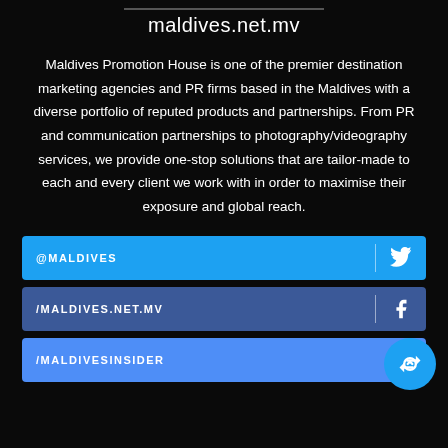maldives.net.mv
Maldives Promotion House is one of the premier destination marketing agencies and PR firms based in the Maldives with a diverse portfolio of reputed products and partnerships. From PR and communication partnerships to photography/videography services, we provide one-stop solutions that are tailor-made to each and every client we work with in order to maximise their exposure and global reach.
@MALDIVES
/MALDIVES.NET.MV
/MALDIVESINSIDER